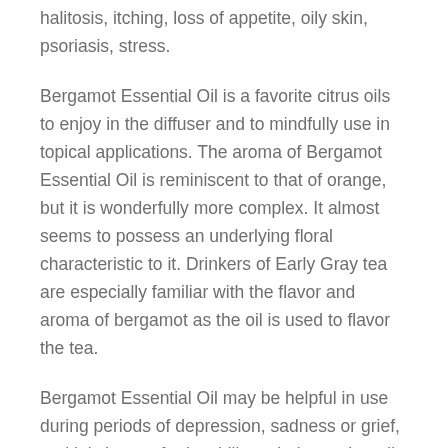halitosis, itching, loss of appetite, oily skin, psoriasis, stress.
Bergamot Essential Oil is a favorite citrus oils to enjoy in the diffuser and to mindfully use in topical applications. The aroma of Bergamot Essential Oil is reminiscent to that of orange, but it is wonderfully more complex. It almost seems to possess an underlying floral characteristic to it. Drinkers of Early Gray tea are especially familiar with the flavor and aroma of bergamot as the oil is used to flavor the tea.
Bergamot Essential Oil may be helpful in use during periods of depression, sadness or grief, and it is known for its ability to help combat oily skin and acne.
Because cold pressed Bergamot Essential Oil it is highly phototoxic, it must be used with care on the